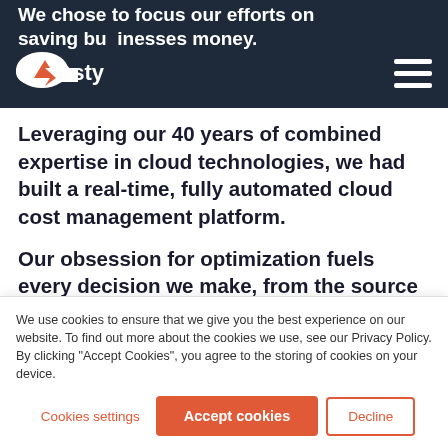We chose to focus our efforts on saving businesses money.
Leveraging our 40 years of combined expertise in cloud technologies, we had built a real-time, fully automated cloud cost management platform.
Our obsession for optimization fuels every decision we make, from the source of our data to our automated approach. We are now on a mission to leverage the cloud’s flexibility to the fullest extent by automatically adjusting
We use cookies to ensure that we give you the best experience on our website. To find out more about the cookies we use, see our Privacy Policy. By clicking “Accept Cookies”, you agree to the storing of cookies on your device.
Cookies settings | Accept cookies | Decline